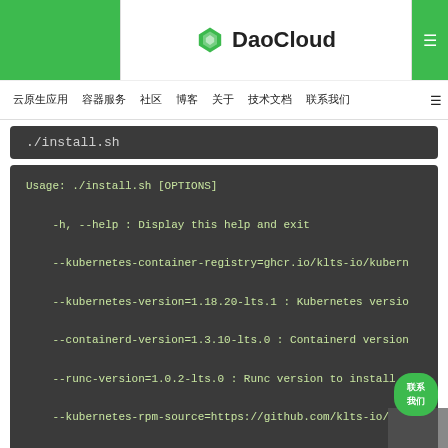DaoCloud
云原生应用   容器服务   社区   博客   关于   技术文档   联系我们
./install.sh
Usage: ./install.sh [OPTIONS]

    -h, --help : Display this help and exit

    --kubernetes-container-registry=ghcr.io/klts-io/kubern

    --kubernetes-version=1.18.20-lts.1 : Kubernetes versio

    --containerd-version=1.3.10-lts.0 : Containerd version

    --runc-version=1.0.2-lts.0 : Runc version to install

    --kubernetes-rpm-source=https://github.com/klts-io/

    --containerd-rpm-source=https://github.com/klts-io/con